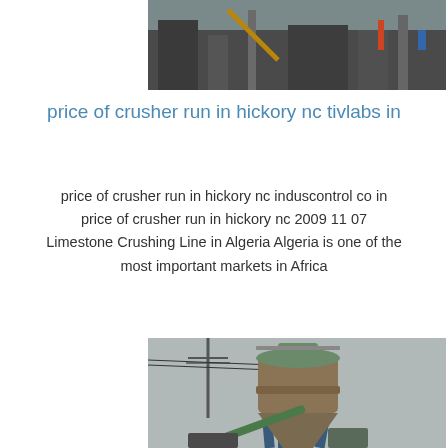[Figure (photo): Industrial machinery or construction equipment, partial view at top of page]
price of crusher run in hickory nc tivlabs in
price of crusher run in hickory nc induscontrol co in price of crusher run in hickory nc 2009 11 07 Limestone Crushing Line in Algeria Algeria is one of the most important markets in Africa
[Figure (photo): Industrial silo or storage tank structure with support legs, conveyor, and utility poles in background, overcast sky]